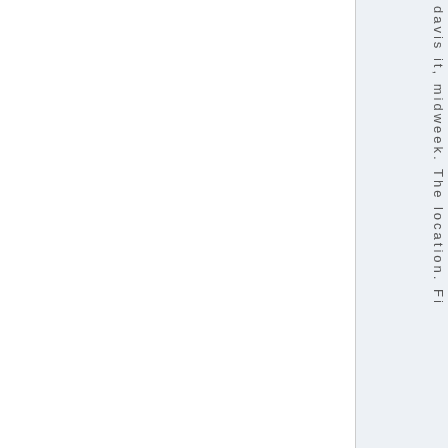davis it, midweek. The location. Fi